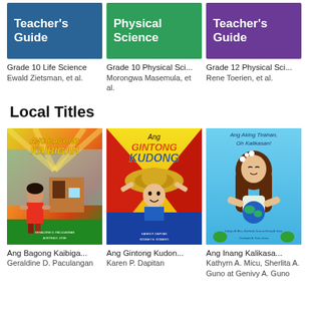[Figure (illustration): Book cover: Teacher's Guide (blue background, white bold text)]
Grade 10 Life Science
Ewald Zietsman, et al.
[Figure (illustration): Book cover: Physical Science (green background, white bold text)]
Grade 10 Physical Science
Morongwa Masemula, et al.
[Figure (illustration): Book cover: Teacher's Guide (purple background, white bold text)]
Grade 12 Physical Science
Rene Toerien, et al.
Local Titles
[Figure (illustration): Book cover: Ang Bagong Kaibigan - colorful illustrated cover with child character]
Ang Bagong Kaibigan
Geraldine D. Paculangan
[Figure (illustration): Book cover: Ang Gintong Kudong - yellow/red illustrated cover with child character holding hat]
Ang Gintong Kudong
Karen P. Dapitan
[Figure (illustration): Book cover: Ang Inang Kalikasan - light blue cover with girl holding earth]
Ang Inang Kalikasan
Kathyrn A. Micu, Sherlita A. Guno at Genivy A. Guno